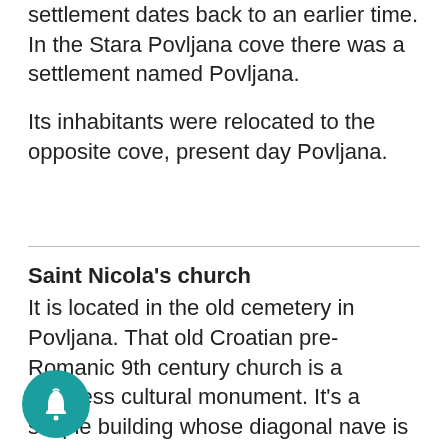settlement dates back to an earlier time. In the Stara Povljana cove there was a settlement named Povljana.
Its inhabitants were relocated to the opposite cove, present day Povljana.
Saint Nicola's church
It is located in the old cemetery in Povljana. That old Croatian pre-Romanic 9th century church is a priceless cultural monument. It's a simple building whose diagonal nave is arched with the barrel-shaped vault which ends with a semi-circular apse.
On the front there is a church bell with one hole for the bell. Especially interesting is the interior of the church with the remains of the mural picturing a saint, being